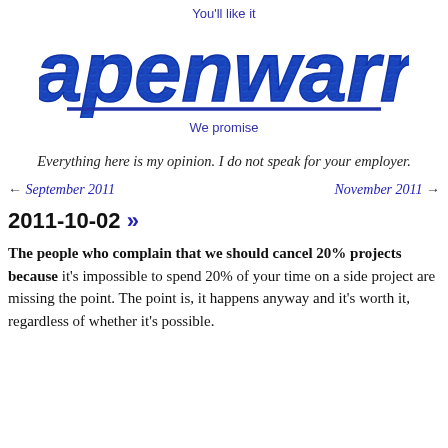You'll like it
apenwarr
We promise
Everything here is my opinion. I do not speak for your employer.
← September 2011   November 2011 →
2011-10-02 »
The people who complain that we should cancel 20% projects because it's impossible to spend 20% of your time on a side project are missing the point. The point is, it happens anyway and it's worth it, regardless of whether it's possible.